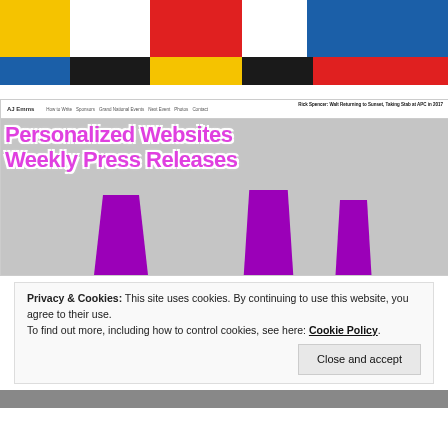[Figure (illustration): Colorful grid of colored rectangles in yellow, white, red, black, blue arranged in two rows forming a graphic banner or logo pattern]
[Figure (screenshot): Screenshot of a website called AJ Emms showing a page with headline 'Rick Spencer: Walt Returning to Sunset, Taking Stab at APC in 2017' and overlay text 'Personalized Websites Weekly Press Releases' in large pink/magenta decorative font with purple human silhouette figures at the bottom. Also shows text 'Emms Receives Best Appearing Man Award at OSCAAR Banquet']
Privacy & Cookies: This site uses cookies. By continuing to use this website, you agree to their use.
To find out more, including how to control cookies, see here: Cookie Policy
Close and accept